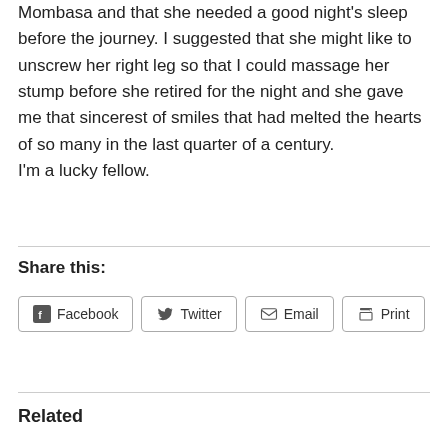Mombasa and that she needed a good night's sleep before the journey. I suggested that she might like to unscrew her right leg so that I could massage her stump before she retired for the night and she gave me that sincerest of smiles that had melted the hearts of so many in the last quarter of a century.
I'm a lucky fellow.
Share this:
[Figure (other): Share buttons for Facebook, Twitter, Email, and Print]
Related